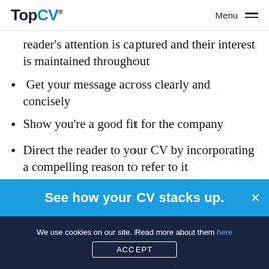TopCV® Menu
reader's attention is captured and their interest is maintained throughout
Get your message across clearly and concisely
Show you're a good fit for the company
Direct the reader to your CV by incorporating a compelling reason to refer to it
Finish off with a strong, positive closing paragraph that will make the reader want to
See how your CV stacks up.
We use cookies on our site. Read more about them here
ACCEPT